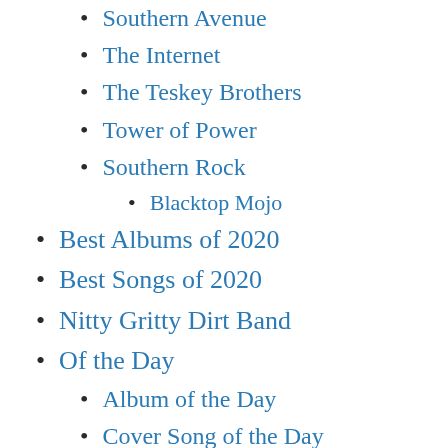Southern Avenue
The Internet
The Teskey Brothers
Tower of Power
Southern Rock
Blacktop Mojo
Best Albums of 2020
Best Songs of 2020
Nitty Gritty Dirt Band
Of the Day
Album of the Day
Cover Song of the Day
Live Video of the Day
BBC Radio (2)
Carter Vintage Guitars
Conan on TBS